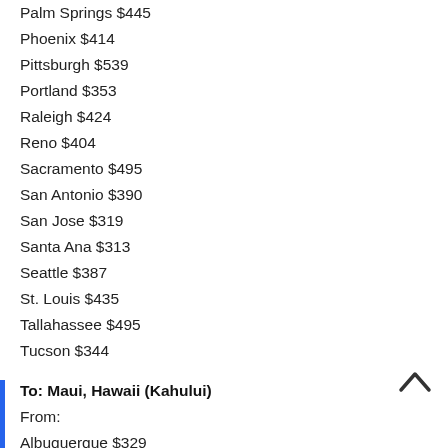Palm Springs $445
Phoenix $414
Pittsburgh $539
Portland $353
Raleigh $424
Reno $404
Sacramento $495
San Antonio $390
San Jose $319
Santa Ana $313
Seattle $387
St. Louis $435
Tallahassee $495
Tucson $344
To: Maui, Hawaii (Kahului)
From:
Albuquerque $329
Austin $372